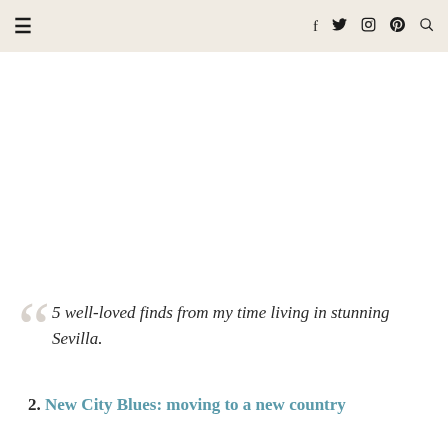≡  f  𝕏  ⊡  𝒫  🔍
5 well-loved finds from my time living in stunning Sevilla.
2. New City Blues: moving to a new country